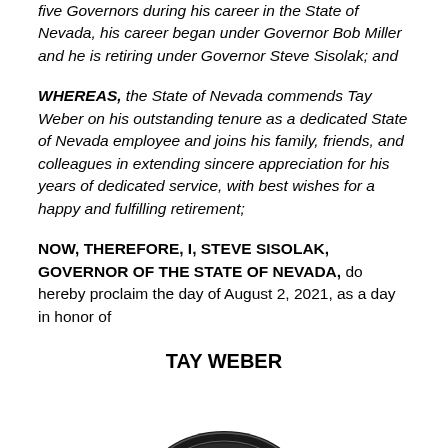five Governors during his career in the State of Nevada, his career began under Governor Bob Miller and he is retiring under Governor Steve Sisolak; and
WHEREAS, the State of Nevada commends Tay Weber on his outstanding tenure as a dedicated State of Nevada employee and joins his family, friends, and colleagues in extending sincere appreciation for his years of dedicated service, with best wishes for a happy and fulfilling retirement;
NOW, THEREFORE, I, STEVE SISOLAK, GOVERNOR OF THE STATE OF NEVADA, do hereby proclaim the day of August 2, 2021, as a day in honor of
TAY WEBER
[Figure (illustration): Partial view of a circular official state seal at the bottom of the page]